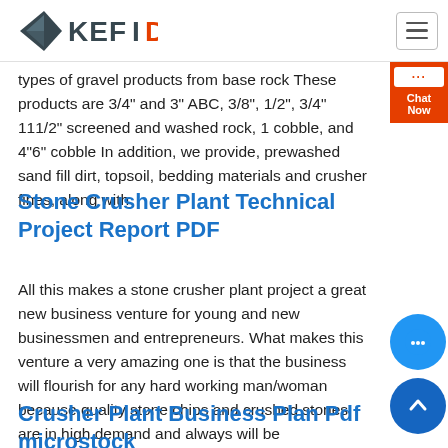[Figure (logo): KEFID logo with grey diamond/arrow shape and red D]
types of gravel products from base rock These products are 3/4" and 3" ABC, 3/8", 1/2", 3/4" 111/2" screened and washed rock, 1 cobble, and 4"6" cobble In addition, we provide, prewashed sand fill dirt, topsoil, bedding materials and crusher fines, along with
Stone Crusher Plant Technical Project Report PDF
All this makes a stone crusher plant project a great new business venture for young and new businessmen and entrepreneurs. What makes this venture a very amazing one is that the business will flourish for any hard working man/woman because quality stone chips and crushed stones are in high demand and always will be
Crusher Plant Business Plan Pdf microstock